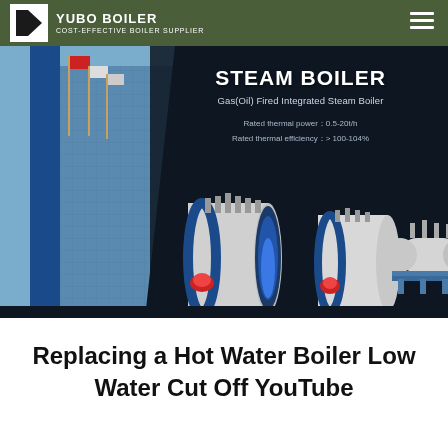COST-EFFECTIVE BOILER SUPPLIER
[Figure (photo): Steam Boiler product banner showing Gas(Oil) Fired Integrated Steam Boiler with specs: Rated thermal power 0.5-20t/h, Rated thermal efficiency > 100-104%. Background shows modern building with flags and multiple boiler units rendered in 3D.]
Replacing a Hot Water Boiler Low Water Cut Off YouTube